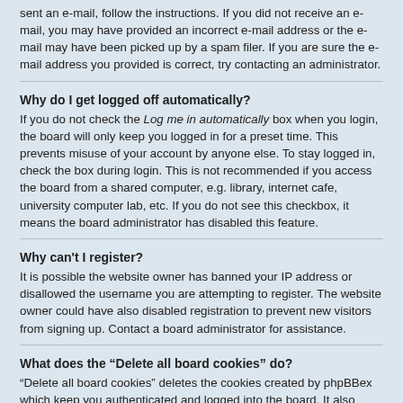sent an e-mail, follow the instructions. If you did not receive an e-mail, you may have provided an incorrect e-mail address or the e-mail may have been picked up by a spam filer. If you are sure the e-mail address you provided is correct, try contacting an administrator.
Why do I get logged off automatically?
If you do not check the Log me in automatically box when you login, the board will only keep you logged in for a preset time. This prevents misuse of your account by anyone else. To stay logged in, check the box during login. This is not recommended if you access the board from a shared computer, e.g. library, internet cafe, university computer lab, etc. If you do not see this checkbox, it means the board administrator has disabled this feature.
Why can't I register?
It is possible the website owner has banned your IP address or disallowed the username you are attempting to register. The website owner could have also disabled registration to prevent new visitors from signing up. Contact a board administrator for assistance.
What does the “Delete all board cookies” do?
“Delete all board cookies” deletes the cookies created by phpBBex which keep you authenticated and logged into the board. It also provides functions such as read tracking if they have been enabled by the board owner. If you are having login or logout problems, deleting board cookies may help.